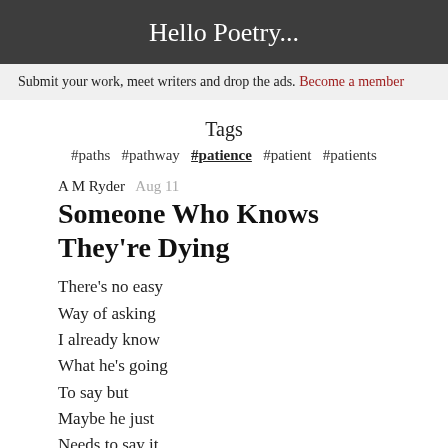Hello Poetry...
Submit your work, meet writers and drop the ads. Become a member
Tags
#paths  #pathway  #patience  #patient  #patients
A M Ryder  Aug 11
Someone Who Knows They're Dying
There's no easy
Way of asking
I already know
What he's going
To say but
Maybe he just
Needs to say it